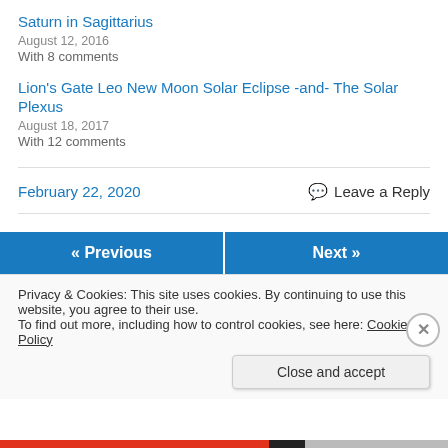Saturn in Sagittarius
August 12, 2016
With 8 comments
Lion's Gate Leo New Moon Solar Eclipse -and- The Solar Plexus
August 18, 2017
With 12 comments
February 22, 2020    Leave a Reply
« Previous    Next »
Privacy & Cookies: This site uses cookies. By continuing to use this website, you agree to their use. To find out more, including how to control cookies, see here: Cookie Policy
Close and accept